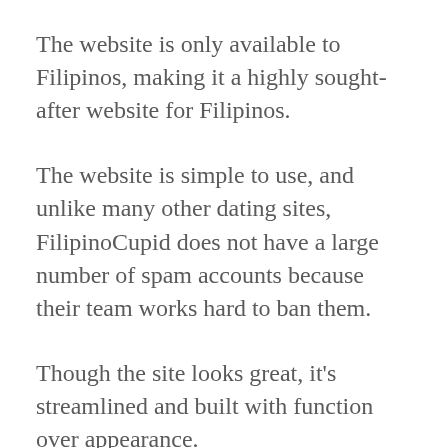The website is only available to Filipinos, making it a highly sought-after website for Filipinos.
The website is simple to use, and unlike many other dating sites, FilipinoCupid does not have a large number of spam accounts because their team works hard to ban them.
Though the site looks great, it's streamlined and built with function over appearance.
The team has implemented some excellent features into its services, providing users